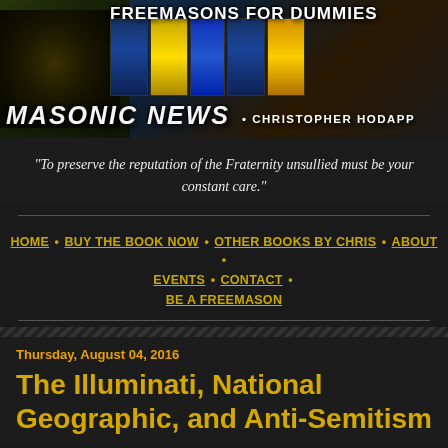[Figure (screenshot): Freemasons for Dummies website banner with book covers, eye imagery, Masonic News text, and Christopher Hodapp byline]
"To preserve the reputation of the Fraternity unsullied must be your constant care."
HOME • BUY THE BOOK NOW • OTHER BOOKS BY CHRIS • ABOUT • EVENTS • CONTACT • BE A FREEMASON
Thursday, August 04, 2016
The Illuminati, National Geographic, and Anti-Semitism